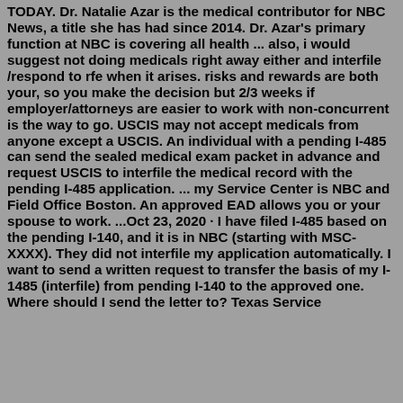TODAY. Dr. Natalie Azar is the medical contributor for NBC News, a title she has had since 2014. Dr. Azar's primary function at NBC is covering all health ... also, i would suggest not doing medicals right away either and interfile /respond to rfe when it arises. risks and rewards are both your, so you make the decision but 2/3 weeks if employer/attorneys are easier to work with non-concurrent is the way to go. USCIS may not accept medicals from anyone except a USCIS. An individual with a pending I-485 can send the sealed medical exam packet in advance and request USCIS to interfile the medical record with the pending I-485 application. ... my Service Center is NBC and Field Office Boston. An approved EAD allows you or your spouse to work. ...Oct 23, 2020 · I have filed I-485 based on the pending I-140, and it is in NBC (starting with MSC-XXXX). They did not interfile my application automatically. I want to send a written request to transfer the basis of my I-1485 (interfile) from pending I-140 to the approved one. Where should I send the letter to? Texas Service